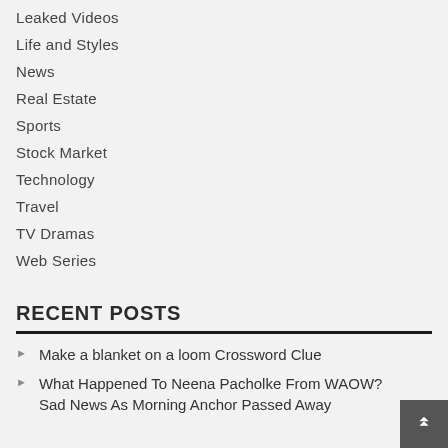Leaked Videos
Life and Styles
News
Real Estate
Sports
Stock Market
Technology
Travel
TV Dramas
Web Series
RECENT POSTS
Make a blanket on a loom Crossword Clue
What Happened To Neena Pacholke From WAOW? Sad News As Morning Anchor Passed Away